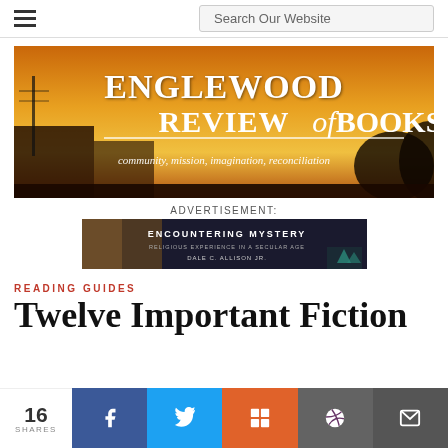Search Our Website
[Figure (illustration): Englewood Review of Books banner with sunset background. Large white serif text reads ENGLEWOOD REVIEW of BOOKS with italic 'of'. Below: italic text 'community, mission, imagination, reconciliation']
ADVERTISEMENT:
[Figure (illustration): Advertisement banner for 'Encountering Mystery: Religious Experience in a Secular Age' by Dale C. Allison Jr. Dark background with teal/green accent.]
READING GUIDES
Twelve Important Fiction
16 SHARES